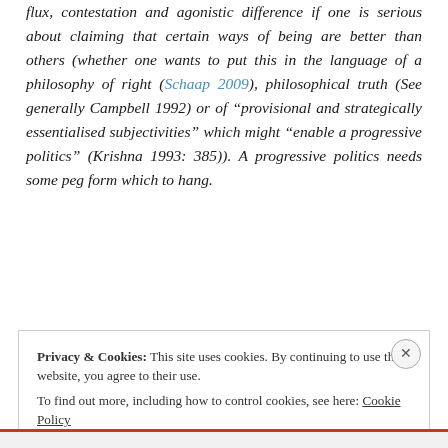flux, contestation and agonistic difference if one is serious about claiming that certain ways of being are better than others (whether one wants to put this in the language of a philosophy of right (Schaap 2009), philosophical truth (See generally Campbell 1992) or of "provisional and strategically essentialised subjectivities" which might "enable a progressive politics" (Krishna 1993: 385)). A progressive politics needs some peg form which to hang.
Privacy & Cookies: This site uses cookies. By continuing to use this website, you agree to their use.
To find out more, including how to control cookies, see here: Cookie Policy